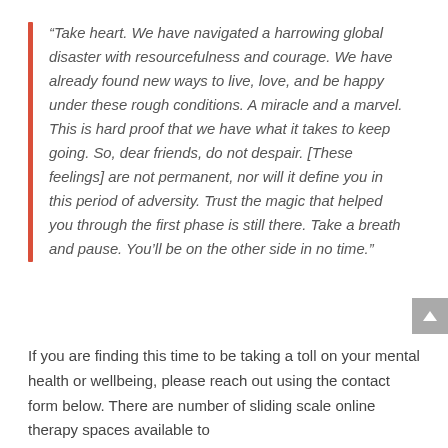“Take heart. We have navigated a harrowing global disaster with resourcefulness and courage. We have already found new ways to live, love, and be happy under these rough conditions. A miracle and a marvel. This is hard proof that we have what it takes to keep going. So, dear friends, do not despair. [These feelings] are not permanent, nor will it define you in this period of adversity. Trust the magic that helped you through the first phase is still there. Take a breath and pause. You’ll be on the other side in no time.”
If you are finding this time to be taking a toll on your mental health or wellbeing, please reach out using the contact form below. There are number of sliding scale online therapy spaces available to